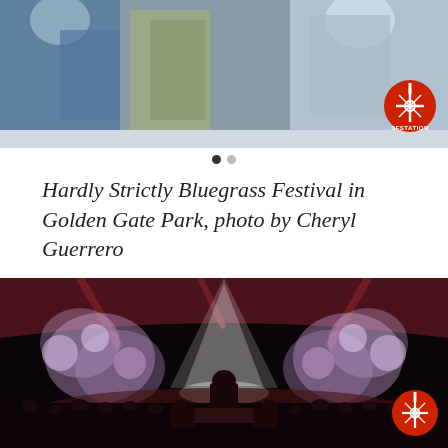[Figure (photo): Concert/festival crowd photo with people in blue clothing, SFSTATION logo watermark in bottom right corner]
Hardly Strictly Bluegrass Festival in Golden Gate Park, photo by Cheryl Guerrero
[Figure (photo): Concert stage photo from behind the DJ/performer, dramatic lighting with spotlights and smoke/fog effects on a dark stage with large crowd, SFSTATION logo watermark in bottom right corner]